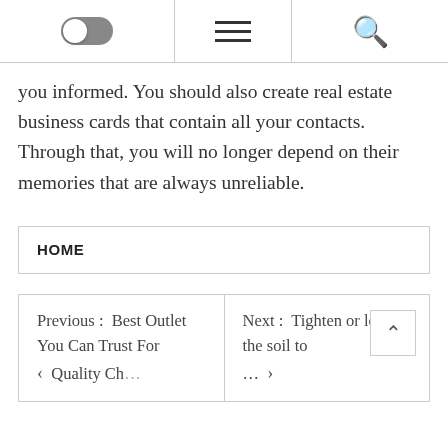[Toggle] [Menu] [Search]
you informed. You should also create real estate business cards that contain all your contacts. Through that, you will no longer depend on their memories that are always unreliable.
HOME
Previous : Best Outlet You Can Trust For Quality Ch...
Next : Tighten or loosen the soil to...